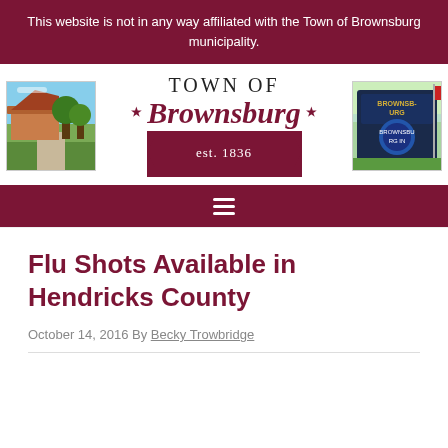This website is not in any way affiliated with the Town of Brownsburg municipality.
[Figure (logo): Town of Brownsburg logo with two flanking photos of the town; text reads TOWN OF * Brownsburg * est. 1836 on a dark red banner]
Navigation menu bar (hamburger icon)
Flu Shots Available in Hendricks County
October 14, 2016 By Becky Trowbridge